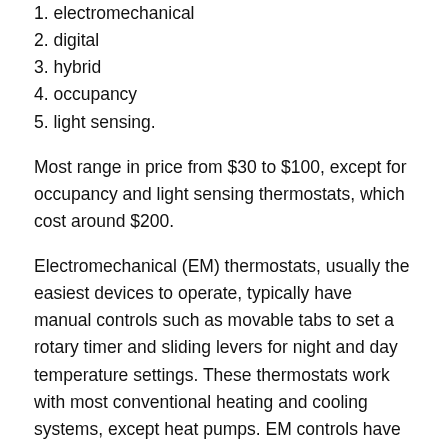1. electromechanical
2. digital
3. hybrid
4. occupancy
5. light sensing.
Most range in price from $30 to $100, except for occupancy and light sensing thermostats, which cost around $200.
Electromechanical (EM) thermostats, usually the easiest devices to operate, typically have manual controls such as movable tabs to set a rotary timer and sliding levers for night and day temperature settings. These thermostats work with most conventional heating and cooling systems, except heat pumps. EM controls have limited flexibility and can store only the same settings for each day, although at least one manufacturer has a model with separate settings for each day of the week. EM thermostats are best suited for people with regular schedules.